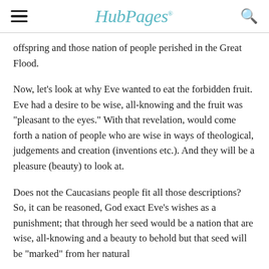HubPages
offspring and those nation of people perished in the Great Flood.
Now, let's look at why Eve wanted to eat the forbidden fruit. Eve had a desire to be wise, all-knowing and the fruit was "pleasant to the eyes." With that revelation, would come forth a nation of people who are wise in ways of theological, judgements and creation (inventions etc.). And they will be a pleasure (beauty) to look at.
Does not the Caucasians people fit all those descriptions? So, it can be reasoned, God exact Eve's wishes as a punishment; that through her seed would be a nation that are wise, all-knowing and a beauty to behold but that seed will be "marked" from her natural